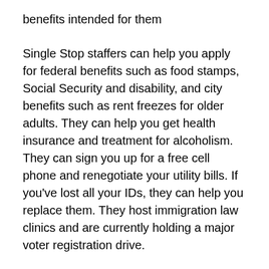benefits intended for them
Single Stop staffers can help you apply for federal benefits such as food stamps, Social Security and disability, and city benefits such as rent freezes for older adults. They can help you get health insurance and treatment for alcoholism. They can sign you up for a free cell phone and renegotiate your utility bills. If you've lost all your IDs, they can help you replace them. They host immigration law clinics and are currently holding a major voter registration drive.
The program does all of this and more Ð